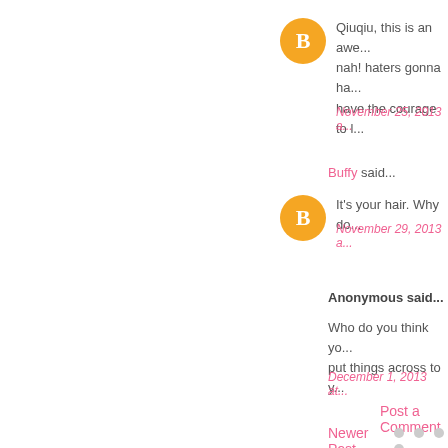Unknown said...
Qiuqiu, this is an awe... nah! haters gonna ha... have the courage to l...
November 25, 2013 a...
Buffy said...
It's your hair. Why do...
November 29, 2013 a...
Anonymous said...
Who do you think yo... put things across to y...
December 1, 2013 at...
Post a Comment
Newer Post
Subscribe to: Post Comments...